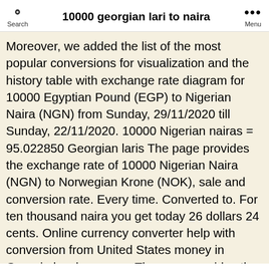10000 georgian lari to naira
Moreover, we added the list of the most popular conversions for visualization and the history table with exchange rate diagram for 10000 Egyptian Pound (EGP) to Nigerian Naira (NGN) from Sunday, 29/11/2020 till Sunday, 22/11/2020. 10000 Nigerian nairas = 95.022850 Georgian laris The page provides the exchange rate of 10000 Nigerian Naira (NGN) to Norwegian Krone (NOK), sale and conversion rate. Every time. Converted to. For ten thousand naira you get today 26 dollars 24 cents. Online currency converter help with conversion from United States money in Georgia local currency. The page provides the exchange rate of 150 US Dollar (USD) to Georgian Lari (GEL), sale and conversion rate. Banks and traditional providers often have extra costs, which they pass to you by marking up the exchange rate. 1 GEL = 117.46600 NGN Mid-market exchange rate at 06:12 UTC. 10000 NGN = 26.31 USD at the rate on 2020-11-25. Our smart tech means we're more efficient, which